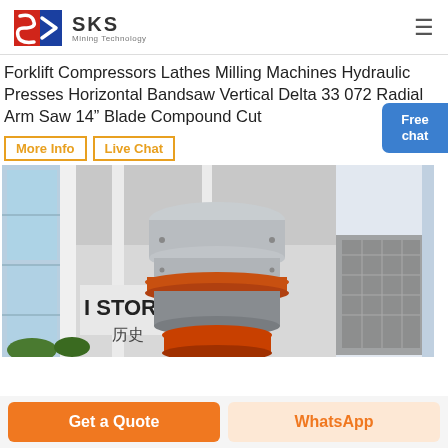[Figure (logo): SKS Mining Technology logo with red and blue geometric shield icon]
Forklift Compressors Lathes Milling Machines Hydraulic Presses Horizontal Bandsaw Vertical Delta 33 072 Radial Arm Saw 14” Blade Compound Cut
More Info
Live Chat
[Figure (photo): Industrial cone crusher machine displayed in a large indoor exhibition hall with glass walls and Chinese signage reading STORE/history]
Free chat
Get a Quote
WhatsApp